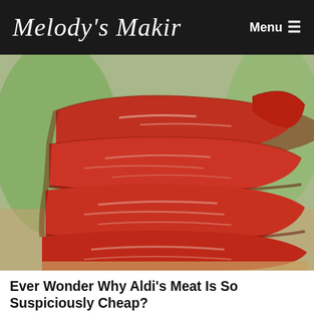Melody's Makin  Menu
[Figure (photo): Stacked raw beef/meat cuts close-up photo, red meat with fat marbling, green blurred background]
Ever Wonder Why Aldi's Meat Is So Suspiciously Cheap?
[Figure (photo): Partial second image strip visible at bottom]
20  868  888 SHARES